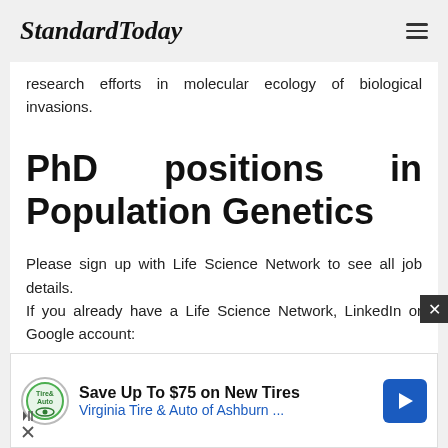StandardToday
research efforts in molecular ecology of biological invasions.
PhD positions in Population Genetics
Please sign up with Life Science Network to see all job details.
If you already have a Life Science Network, LinkedIn or Google account:
[Figure (infographic): Advertisement banner: Save Up To $75 on New Tires - Virginia Tire & Auto of Ashburn ...]